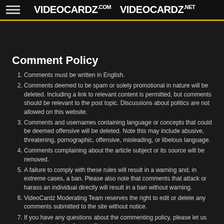VIDEOCARDZ.com  VIDEOCARDZ.net
Comment Policy
Comments must be written in English.
Comments deemed to be spam or solely promotional in nature will be deleted. Including a link to relevant content is permitted, but comments should be relevant to the post topic. Discussions about politics are not allowed on this website.
Comments and usernames containing language or concepts that could be deemed offensive will be deleted. Note this may include abusive, threatening, pornographic, offensive, misleading, or libelous language.
Comments complaining about the article subject or its source will be removed.
A failure to comply with these rules will result in a warning and, in extreme cases, a ban. Please also note that comments that attack or harass an individual directly will result in a ban without warning.
VideoCardz Moderating Team reserves the right to edit or delete any comments submitted to the site without notice.
If you have any questions about the commenting policy, please let us know through the Contact Page.
Comments
Hide Comment Policy
Comments for this thread are now closed